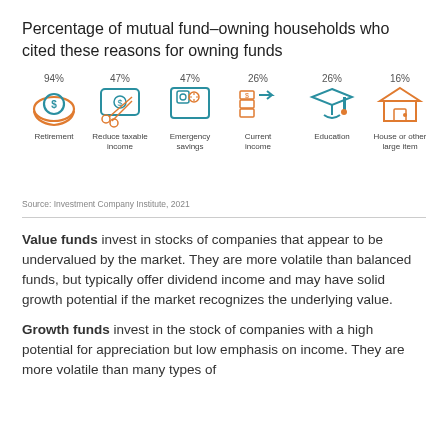Percentage of mutual fund–owning households who cited these reasons for owning funds
[Figure (infographic): Six icons representing reasons for owning mutual funds with percentages: Retirement 94%, Reduce taxable income 47%, Emergency savings 47%, Current income 26%, Education 26%, House or other large item 16%]
Source: Investment Company Institute, 2021
Value funds invest in stocks of companies that appear to be undervalued by the market. They are more volatile than balanced funds, but typically offer dividend income and may have solid growth potential if the market recognizes the underlying value.
Growth funds invest in the stock of companies with a high potential for appreciation but low emphasis on income. They are more volatile than many types of